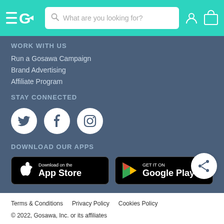[Figure (screenshot): Navigation bar with Gosawa logo, search bar 'What are you looking for?', user and cart icons on teal background]
WORK WITH US
Run a Gosawa Campaign
Brand Advertising
Affiliate Program
STAY CONNECTED
[Figure (illustration): Social media icons: Twitter, Facebook, Instagram in white circles]
DOWNLOAD OUR APPS
[Figure (illustration): App Store and Google Play download buttons]
[Figure (illustration): Share button (circle with share icon) bottom right]
Terms & Conditions    Privacy Policy    Cookies Policy
© 2022, Gosawa, Inc. or its affiliates